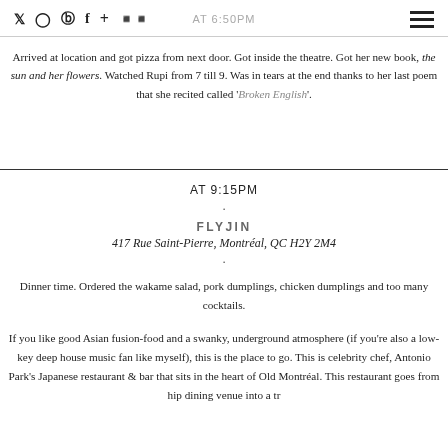Social icons: Twitter, Instagram, Pinterest, Facebook, Plus, SoundCloud | AT 6:50PM | Hamburger menu
Arrived at location and got pizza from next door. Got inside the theatre. Got her new book, the sun and her flowers. Watched Rupi from 7 till 9. Was in tears at the end thanks to her last poem that she recited called 'Broken English'.
AT 9:15PM
FLYJIN
417 Rue Saint-Pierre, Montréal, QC H2Y 2M4
Dinner time. Ordered the wakame salad, pork dumplings, chicken dumplings and too many cocktails.
If you like good Asian fusion-food and a swanky, underground atmosphere (if you're also a low-key deep house music fan like myself), this is the place to go. This is celebrity chef, Antonio Park's Japanese restaurant & bar that sits in the heart of Old Montréal. This restaurant goes from hip dining venue into a tr